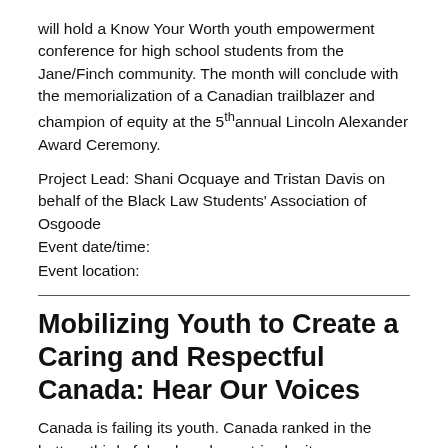will hold a Know Your Worth youth empowerment conference for high school students from the Jane/Finch community. The month will conclude with the memorialization of a Canadian trailblazer and champion of equity at the 5th annual Lincoln Alexander Award Ceremony.
Project Lead: Shani Ocquaye and Tristan Davis on behalf of the Black Law Students' Association of Osgoode
Event date/time:
Event location:
Mobilizing Youth to Create a Caring and Respectful Canada: Hear Our Voices
Canada is failing its youth. Canada ranked in the bottom third of developed countries by its own government